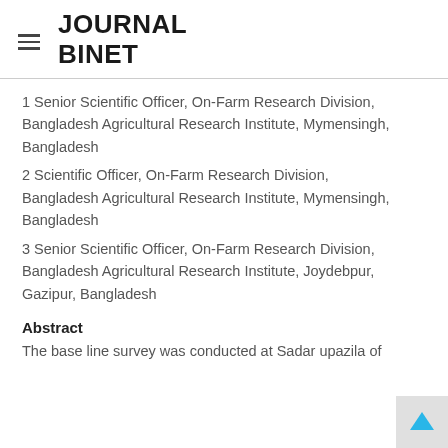JOURNAL BINET
1 Senior Scientific Officer, On-Farm Research Division, Bangladesh Agricultural Research Institute, Mymensingh, Bangladesh
2 Scientific Officer, On-Farm Research Division, Bangladesh Agricultural Research Institute, Mymensingh, Bangladesh
3 Senior Scientific Officer, On-Farm Research Division, Bangladesh Agricultural Research Institute, Joydebpur, Gazipur, Bangladesh
Abstract
The base line survey was conducted at Sadar upazila of